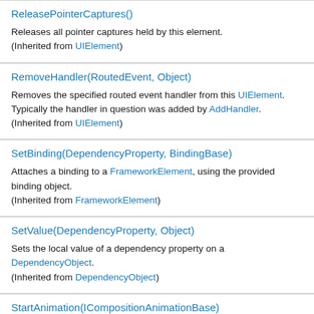ReleasePointerCaptures()
Releases all pointer captures held by this element. (Inherited from UIElement)
RemoveHandler(RoutedEvent, Object)
Removes the specified routed event handler from this UIElement. Typically the handler in question was added by AddHandler. (Inherited from UIElement)
SetBinding(DependencyProperty, BindingBase)
Attaches a binding to a FrameworkElement, using the provided binding object. (Inherited from FrameworkElement)
SetValue(DependencyProperty, Object)
Sets the local value of a dependency property on a DependencyObject. (Inherited from DependencyObject)
StartAnimation(ICompositionAnimationBase)